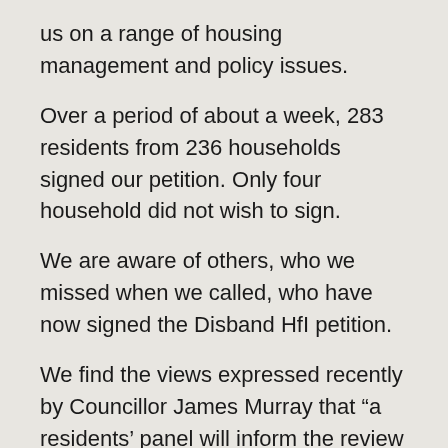us on a range of housing management and policy issues.
Over a period of about a week, 283 residents from 236 households signed our petition. Only four household did not wish to sign.
We are aware of others, who we missed when we called, who have now signed the Disband HfI petition.
We find the views expressed recently by Councillor James Murray that “a residents’ panel will inform the review [of HfI] and ensure residents’ views are heard” an example of the disdain that he and the Labour council have for democratic accountability.
With the exception of Conservative-controlled Barnet, Islington is the only London borough that has no formal borough-wide tenants’ federation, council or